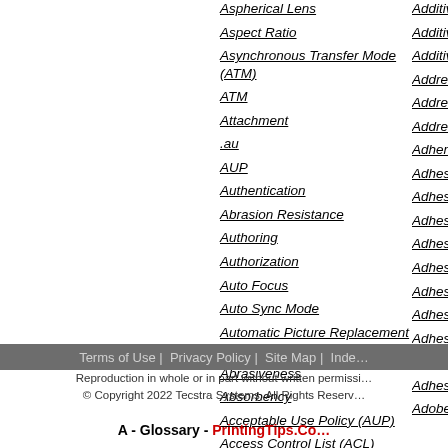Aspherical Lens
Aspect Ratio
Asynchronous Transfer Mode (ATM)
ATM
Attachment
.au
AUP
Authentication
Abrasion Resistance
Authoring
Authorization
Auto Focus
Auto Sync Mode
Automatic Picture Replacement (APR)
Abrasiveness
Absorbency
Acceptable Use Policy (AUP)
Access Control List (ACL)
Additive Color
Additive Color (m…
Additive Primaries
Address
Address Change (ACS)
Address Mapping
Adhere
Adhesion, Peel
Adhesion Test
Adhesive
Adhesive Coated
Adhesive, Cold Temperature
Adhesive, High Temperature
Adhesive, Perma…
Adhesive, Pressure Sensitive
Adhesive, Remo…
Adhesive Strike-T…
Adobe Type Man… (ATM)
Terms of Use |  Privacy Policy |  Site Map |  Inde…
Reproduction in whole or in part without written permissi… © Copyright 2022 Tecstra Systems, All Rights Reserv…
A - Glossary - PrintingTips.Co…